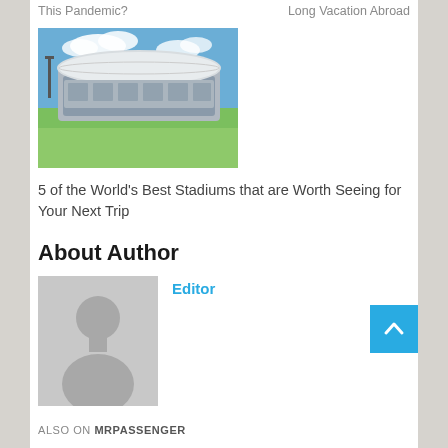This Pandemic?
Long Vacation Abroad
[Figure (photo): Aerial/ground view of a large modern stadium with white dome roof, green field, clear blue sky with clouds]
5 of the World's Best Stadiums that are Worth Seeing for Your Next Trip
About Author
[Figure (photo): Generic grey silhouette avatar placeholder image for author profile]
Editor
ALSO ON MRPASSENGER